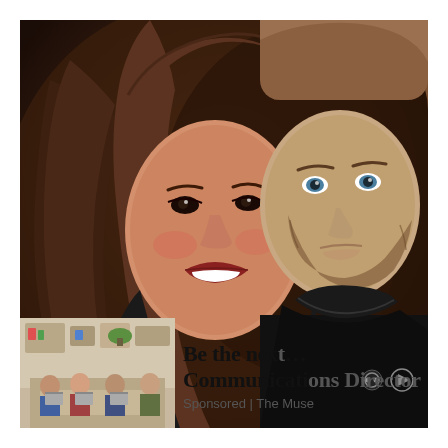[Figure (photo): Close-up selfie of a woman with long brown hair, red lipstick and a smiling expression, and a man with short brown hair, blue eyes, and a beard wearing a black turtleneck, their heads close together in a warm indoor setting]
[Figure (photo): Advertisement thumbnail showing a group of people working together in an office setting with laptops]
Be the next Communications Director
Sponsored | The Muse